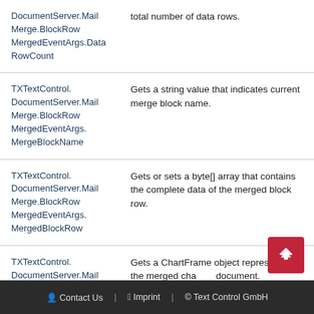| Member | Description |
| --- | --- |
| DocumentServer.MailMerge.BlockRowMergedEventArgs.DataRowCount | total number of data rows. |
| TXTextControl.DocumentServer.MailMerge.BlockRowMergedEventArgs.MergeBlockName | Gets a string value that indicates current merge block name. |
| TXTextControl.DocumentServer.MailMerge.BlockRowMergedEventArgs.MergedBlockRow | Gets or sets a byte[] array that contains the complete data of the merged block row. |
| TXTextControl.DocumentServer.MailMerge.ChartMergedEventArgs.ChartFrame | Gets a ChartFrame object representing the merged chart document. |
Contact Us | Imprint | © Text Control GmbH